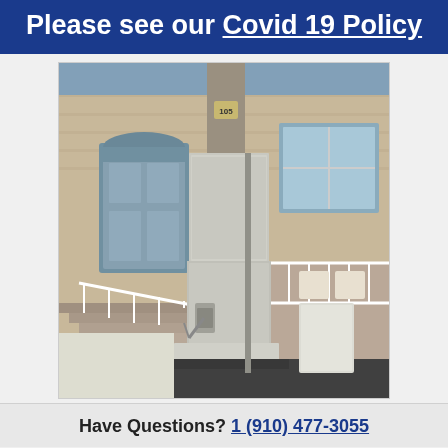Please see our Covid 19 Policy
[Figure (photo): Outdoor vertical platform wheelchair lift installed in front of a townhouse numbered 105. The lift has a gray metal enclosure with a fold-down ramp at the base. There are concrete steps with white railings to the left, and a porch area with white railings and patio furniture to the right. The building exterior is brick.]
Have Questions? 1 (910) 477-3055